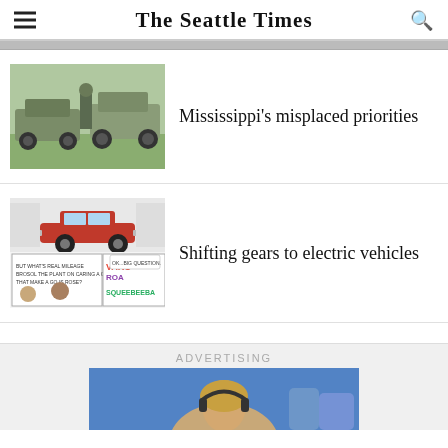The Seattle Times
[Figure (photo): Military Humvee vehicles with soldiers in camouflage]
Mississippi's misplaced priorities
[Figure (illustration): Comic-style illustration: classic red muscle car on top panel, cartoon road trip scene below with text VAROOM ROAD and SQUEEBEEBA]
Shifting gears to electric vehicles
ADVERTISING
[Figure (photo): Person with headphones in an office/call center environment]